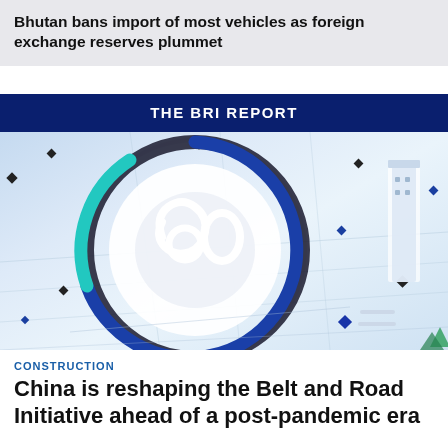Bhutan bans import of most vehicles as foreign exchange reserves plummet
THE BRI REPORT
[Figure (illustration): 3D illustration of a globe ring with blue and teal arc, geometric shapes, road/path motifs on a light blue-white background, associated with the Belt and Road Initiative report]
CONSTRUCTION
China is reshaping the Belt and Road Initiative ahead of a post-pandemic era